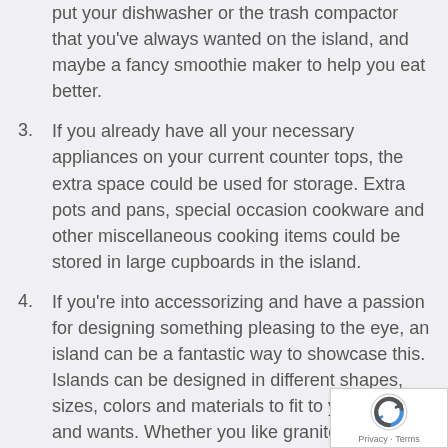put your dishwasher or the trash compactor that you've always wanted on the island, and maybe a fancy smoothie maker to help you eat better.
3. If you already have all your necessary appliances on your current counter tops, the extra space could be used for storage. Extra pots and pans, special occasion cookware and other miscellaneous cooking items could be stored in large cupboards in the island.
4. If you're into accessorizing and have a passion for designing something pleasing to the eye, an island can be a fantastic way to showcase this. Islands can be designed in different shapes, sizes, colors and materials to fit to your needs and wants. Whether you like granite or something more natural like wood, the possibilities are endless.